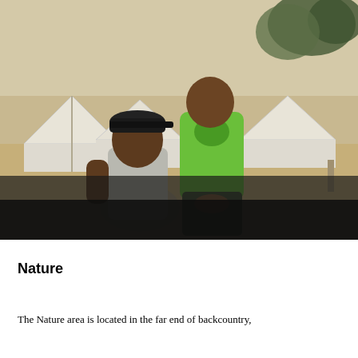[Figure (photo): Two children standing outdoors in front of white canvas tents. The child on the left wears a gray t-shirt and dark baseball cap; the child on the right wears a bright green sweatshirt with a graphic on it and dark pants. Trees and sandy ground are visible in the background. The bottom portion of the photo is very dark/underexposed.]
Nature
The Nature area is located in the far end of backcountry,